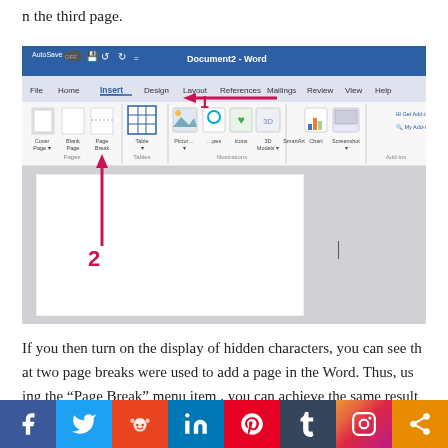n the third page.
[Figure (screenshot): Microsoft Word interface showing the Insert tab selected (labeled 1 with a red arrow) and the Page Break button (labeled 2 with a red arrow pointing up). The ribbon shows File, Home, Insert, Design, Layout, References, Mailings, Review, View, Help tabs. Below the ribbon is a Word document page area in gray.]
If you then turn on the display of hidden characters, you can see th at two page breaks were used to add a page in the Word. Thus, us ing the “Page Break” menu item , you can achieve the same result